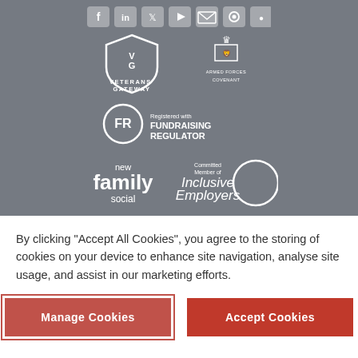[Figure (logo): Social media icons bar (Facebook, LinkedIn, Twitter, YouTube, and others) in white on grey background]
[Figure (logo): Veterans' Gateway logo - white shield with VG monogram and text VETERANS' GATEWAY]
[Figure (logo): Armed Forces Covenant logo - white lion with Union flag and text ARMED FORCES COVENANT]
[Figure (logo): Fundraising Regulator logo - FR circle badge with text Registered with FUNDRAISING REGULATOR]
[Figure (logo): New Family Social logo - white text 'new family social']
[Figure (logo): Inclusive Employers logo - Committed Member of Inclusive Employers with white circle]
By clicking "Accept All Cookies", you agree to the storing of cookies on your device to enhance site navigation, analyse site usage, and assist in our marketing efforts.
Manage Cookies
Accept Cookies